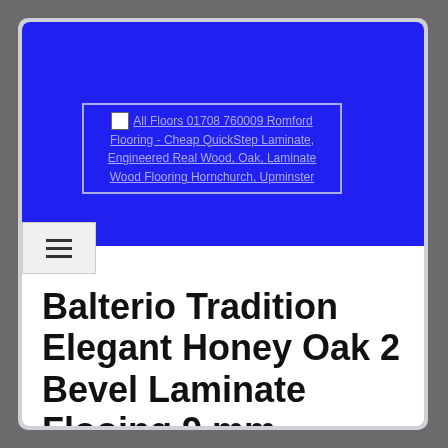[Figure (screenshot): Blue header banner with a broken image placeholder and linked text reading 'All Floors 01708 760009 Romford Flooring - Cheap QuickStep Laminate, Engineered Real Wood, Oak, Laminate Wood Flooring Hornchurch, Upminster']
Balterio Tradition Elegant Honey Oak 2 Bevel Laminate Flooing 9 mm
Balterio Tradition Elegant Honey Oak 2